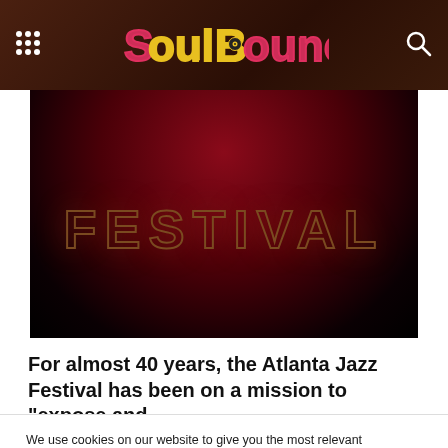SoulBounce
[Figure (photo): Festival banner image with large text 'FESTIVAL' in dark red/black gradient background]
For almost 40 years, the Atlanta Jazz Festival has been on a mission to “expose and
We use cookies on our website to give you the most relevant experience by remembering your preferences and repeat visits. By clicking “Accept All”, you consent to the use of ALL the cookies. However, you may visit "Cookie Settings" to provide a controlled consent.